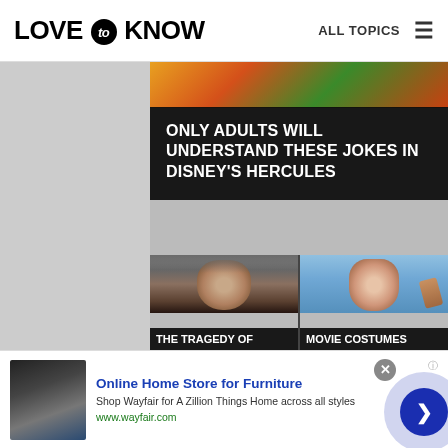LOVE to KNOW   ALL TOPICS
[Figure (screenshot): LoveToKnow website screenshot showing article thumbnails. Top card: 'Only Adults Will Understand These Jokes in Disney's Hercules'. Below: two side-by-side thumbnails — left shows a man (The Tragedy Of...), right shows a woman with mouth open (Movie Costumes). An advertisement banner at the bottom for Wayfair Online Home Store for Furniture.]
ONLY ADULTS WILL UNDERSTAND THESE JOKES IN DISNEY'S HERCULES
THE TRAGEDY OF
MOVIE COSTUMES
Online Home Store for Furniture
Shop Wayfair for A Zillion Things Home across all styles
www.wayfair.com